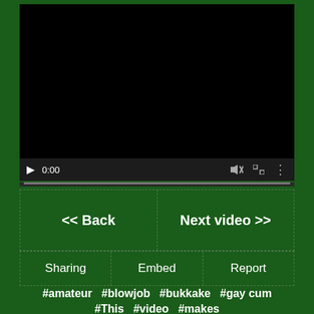[Figure (screenshot): Black video player with playback controls showing play button, time 0:00, mute icon, fullscreen icon, and more options icon, with a gray progress bar at the bottom]
<< Back
Next video >>
Sharing
Embed
Report
#amateur  #blowjob  #bukkake  #gay cum
#This  #video  #makes